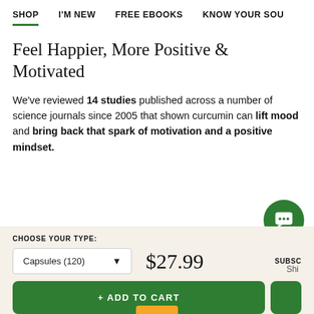SHOP   I'M NEW   FREE EBOOKS   KNOW YOUR SOU…
Feel Happier, More Positive & Motivated
We've reviewed 14 studies published across a number of science journals since 2005 that shown curcumin can lift mood and bring back that spark of motivation and a positive mindset.
CHOOSE YOUR TYPE:
Capsules (120) ▼   $27.99   SUBSC… Shi…
+ ADD TO CART